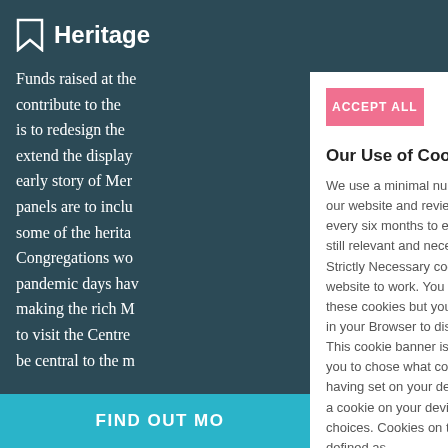Heritage
Funds raised at the contribute to the is to redesign the extend the display early story of Mer panels are to inclu some of the herita Congregations wo pandemic days hav making the rich M to visit the Centre be central to the m
ACCEPT ALL
REJECT ALL
Our Use of Cookies
We use a minimal number of cookies on our website and review our cookie settings every six months to ensure all cookies are still relevant and necessary. We use Strictly Necessary cookies to enable the website to work. You cannot opt-out of these cookies but you can use the settings in your Browser to disable them.
This cookie banner is a tool that enables you to chose what cookies you consent to having set on your device. This tool will set a cookie on your device to remember your choices. Cookies on this website are defined as